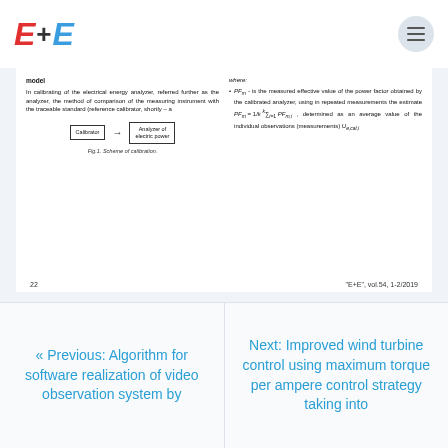E+E (logo)
model
In calibrating of the electrical energy analyzer, referred further as the analyzer, the method of comparison of the measuring instrument with the traceable standard (reference calibrator, shortly – a
[Figure (engineering-diagram): Block diagram showing Calibrator connected by arrow to Analyzer of electric power]
Fig.1. Scheme of calibration.
where: PF_m – is the measured effective value of the power factor obtained by the calibrated analyzer, using in repeated measurements the estimate PF_m = 1/k * sum PF_m,i, determined as an average value of the individual observations (measurements) U_e,cal,i
22                                                          "E+E", vol.54, 1-2/2019
« Previous: Algorithm for software realization of video observation system by
Next: Improved wind turbine control using maximum power per ampere control strategy taking into